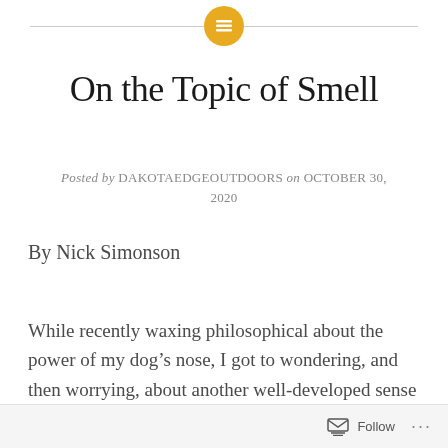[Blog header with icon]
On the Topic of Smell
Posted by DAKOTAEDGEOUTDOORS on OCTOBER 30, 2020
By Nick Simonson
While recently waxing philosophical about the power of my dog’s nose, I got to wondering, and then worrying, about another well-developed sense of smell in the outdoors.  As I drew to the end on my column which detailed
Follow